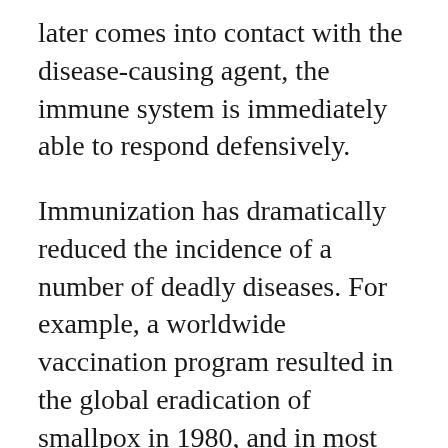later comes into contact with the disease-causing agent, the immune system is immediately able to respond defensively.
Immunization has dramatically reduced the incidence of a number of deadly diseases. For example, a worldwide vaccination program resulted in the global eradication of smallpox in 1980, and in most developed countries immunization has essentially eliminated diphtheria, poliomyelitis, and neonatal tetanus. The number of cases of Haemophilus influenzae type b meningitis in the United States has